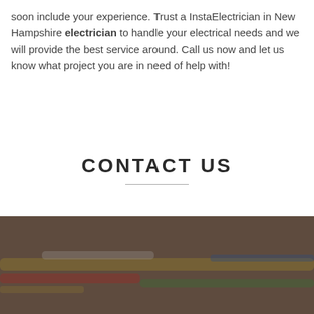soon include your experience. Trust a InstaElectrician in New Hampshire electrician to handle your electrical needs and we will provide the best service around. Call us now and let us know what project you are in need of help with!
CONTACT US
[Figure (photo): Darkened background photo showing electrical wires/cables, visible at bottom of page]